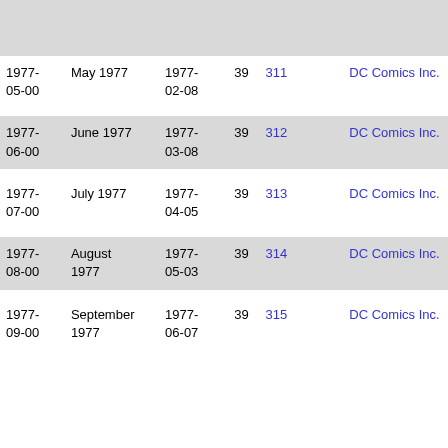|  |  |  |  |  |  |
| --- | --- | --- | --- | --- | --- |
| 1977-05-00 | May 1977 | 1977-02-08 | 39 | 311 | DC Comics Inc. |
| 1977-06-00 | June 1977 | 1977-03-08 | 39 | 312 | DC Comics Inc. |
| 1977-07-00 | July 1977 | 1977-04-05 | 39 | 313 | DC Comics Inc. |
| 1977-08-00 | August 1977 | 1977-05-03 | 39 | 314 | DC Comics Inc. |
| 1977-09-00 | September 1977 | 1977-06-07 | 39 | 315 | DC Comics Inc. |